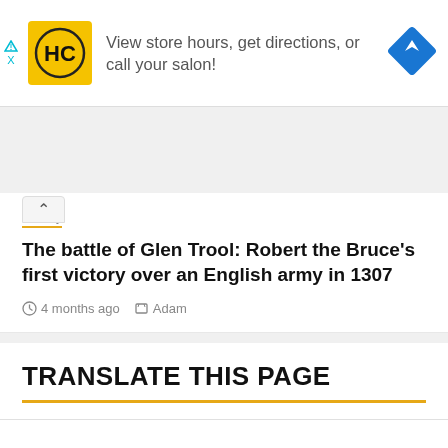[Figure (infographic): Advertisement banner for a salon with HC logo, text 'View store hours, get directions, or call your salon!' and a blue navigation diamond icon]
History
The battle of Glen Trool: Robert the Bruce's first victory over an English army in 1307
4 months ago  Adam
TRANSLATE THIS PAGE
Select Language
Powered by Google Translate